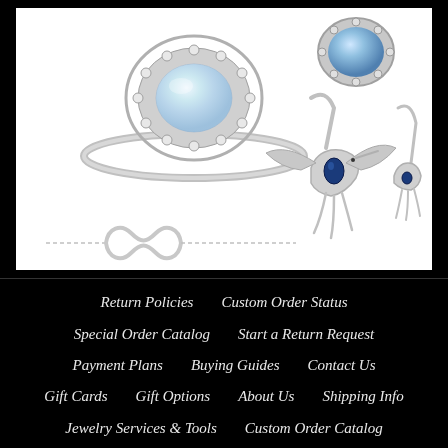[Figure (photo): Jewelry product photo on white background showing: an opal and CZ halo ring (center left), an opal and CZ oval earring stud (top right), hummingbird drop earrings with blue sapphire CZ body (center right), and a delicate chain bracelet with infinity symbol (bottom left)]
Return Policies
Custom Order Status
Special Order Catalog
Start a Return Request
Payment Plans
Buying Guides
Contact Us
Gift Cards
Gift Options
About Us
Shipping Info
Jewelry Services & Tools
Custom Order Catalog